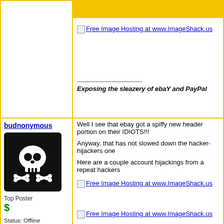[Figure (screenshot): Yellow banner bar at top right]
Free Image Hosting at www.ImageShack.us
Exposing the sleazery of ebaY and PayPal
budnonymous
[Figure (photo): Black keyboard key with skull and crossbones icon]
Top Poster
$
Status: Offline
Posts: 3757
Date: Apr 7, 2007
Well I see that ebay got a spiffy new header portion on their IDIOTS!!!
Anyway, that has not slowed down the hacker-hijackers one
Here are a couple account hijackings from a repeat hackers
Free Image Hosting at www.ImageShack.us
Free Image Hosting at www.ImageShack.us
Free Image Hosting at www.ImageShack.us